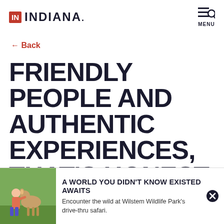IN INDIANA. MENU
← Back
FRIENDLY PEOPLE AND AUTHENTIC EXPERIENCES, THAT'S HONEST TO GOODNESS INDIANA
[Figure (photo): Photo of a child interacting with a deer or animal at a wildlife park, green grass background]
A WORLD YOU DIDN'T KNOW EXISTED AWAITS
Encounter the wild at Wilstem Wildlife Park's drive-thru safari.